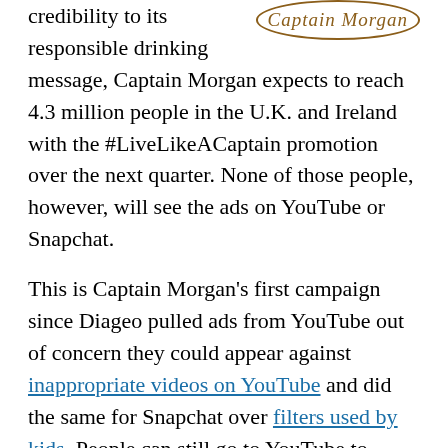credibility to its responsible drinking message, Captain Morgan expects to reach 4.3 million people in the U.K. and Ireland with the #LiveLikeACaptain promotion over the next quarter. None of those people, however, will see the ads on YouTube or Snapchat.
[Figure (logo): Captain Morgan logo in ornate script style with decorative border]
This is Captain Morgan's first campaign since Diageo pulled ads from YouTube out of concern they could appear against inappropriate videos on YouTube and did the same for Snapchat over filters used by kids. People can still go to YouTube to watch the Captain Morgan ads, which are versions of a longer music video for Lady Leshurr, as Diageo hasn't paid to place and target them. "Unfortunately, we're not working with Snapchat anymore, and we're not actually buying media with YouTube anymore," said Amy Mooney,